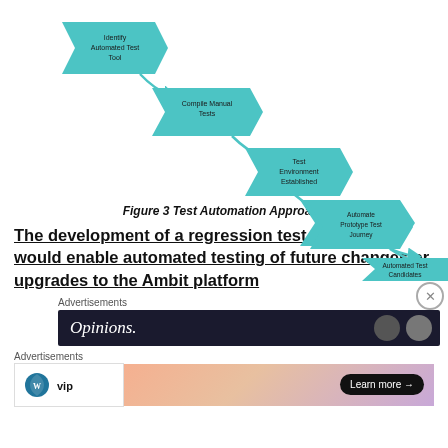[Figure (flowchart): A cascading diagonal flowchart showing 6 steps of Test Automation Approach: 1) Identify Automated Test Tool, 2) Compile Manual Tests, 3) Test Environment Established, 4) Prioritise/Identify Tests from pack to Automate, 5) Automate Prototype Test Journey, 6) Automated Test Candidates. Each step is a teal arrow/chevron shape connected by curved arrows going down-right.]
Figure 3 Test Automation Approach
The development of a regression test pack which would enable automated testing of future changes or upgrades to the Ambit platform
Advertisements
[Figure (screenshot): Dark advertisement banner with 'Opinions.' text in white italic, and two circular buttons on the right.]
Advertisements
[Figure (infographic): WP VIP advertisement with WordPress VIP logo on left and gradient orange/pink/purple background on right with 'Learn more →' button.]